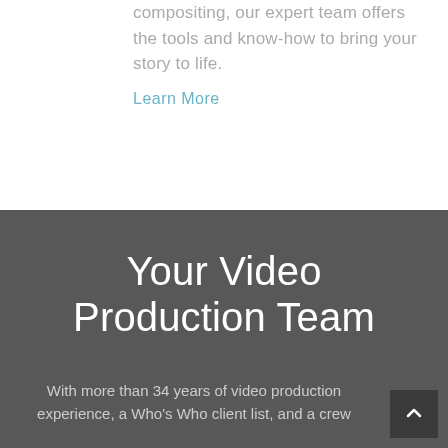compositing, our expert team offers the tools and know-how to bring your story to life.
Learn More
Your Video Production Team
With more than 34 years of video production experience, a Who's Who client list, and a crew